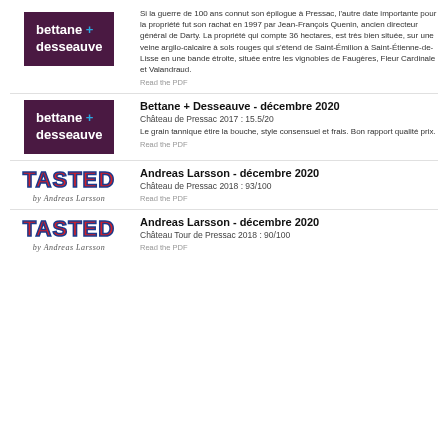[Figure (logo): Bettane + Desseauve logo, white text on dark purple background]
Si la guerre de 100 ans connut son épilogue à Pressac, l'autre date importante pour la propriété fut son rachat en 1997 par Jean-François Quenin, ancien directeur général de Darty. La propriété qui compte 36 hectares, est très bien située, sur une veine argilo-calcaire à sols rouges qui s'étend de Saint-Émilion à Saint-Étienne-de-Lisse en une bande étroite, située entre les vignobles de Faugères, Fleur Cardinale et Valandraud.
Read the PDF
[Figure (logo): Bettane + Desseauve logo, white text on dark purple background]
Bettane + Desseauve - décembre 2020
Château de Pressac 2017 : 15.5/20
Le grain tannique étire la bouche, style consensuel et frais. Bon rapport qualité prix.
Read the PDF
[Figure (logo): Tasted by Andreas Larsson logo]
Andreas Larsson - décembre 2020
Château de Pressac 2018 : 93/100
Read the PDF
[Figure (logo): Tasted by Andreas Larsson logo]
Andreas Larsson - décembre 2020
Château Tour de Pressac 2018 : 90/100
Read the PDF